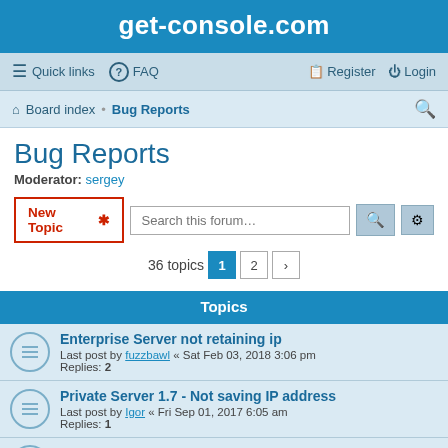get-console.com
Bug Reports
Moderator: sergey
36 topics  1  2  >
Topics
Enterprise Server not retaining ip
Last post by fuzzbawl « Sat Feb 03, 2018 3:06 pm
Replies: 2
Private Server 1.7 - Not saving IP address
Last post by Igor « Fri Sep 01, 2017 6:05 am
Replies: 1
Copy/Paste Doesn't Work on Getconsole APP
Last post by elvinr « Mon Feb 13, 2017 11:37 am
Get Console app quits
Last post by chris « Thu Jul 14, 2016 1:33 am
Replies: 2
Can't click on Security or Upgrade tabs